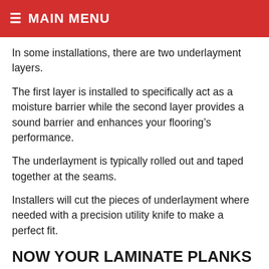≡ MAIN MENU
In some installations, there are two underlayment layers.
The first layer is installed to specifically act as a moisture barrier while the second layer provides a sound barrier and enhances your flooring's performance.
The underlayment is typically rolled out and taped together at the seams.
Installers will cut the pieces of underlayment where needed with a precision utility knife to make a perfect fit.
NOW YOUR LAMINATE PLANKS OR TILES ARE LAID.